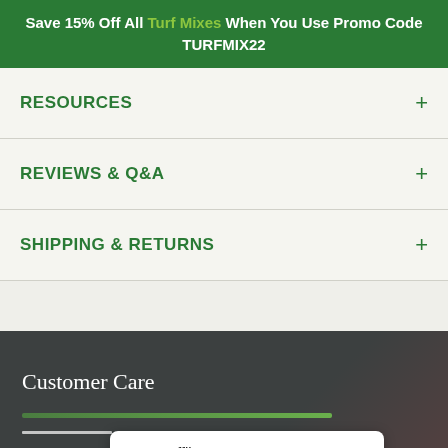Save 15% Off All Turf Mixes When You Use Promo Code TURFMIX22
RESOURCES
REVIEWS & Q&A
SHIPPING & RETURNS
Customer Care
We're offline
Leave a message